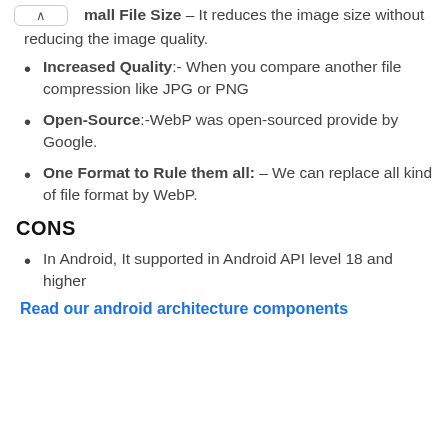mall File Size – It reduces the image size without reducing the image quality.
Increased Quality:- When you compare another file compression like JPG or PNG
Open-Source:-WebP was open-sourced provide by Google.
One Format to Rule them all: – We can replace all kind of file format by WebP.
CONS
In Android,  It supported in Android API level 18 and higher
Read our android architecture components